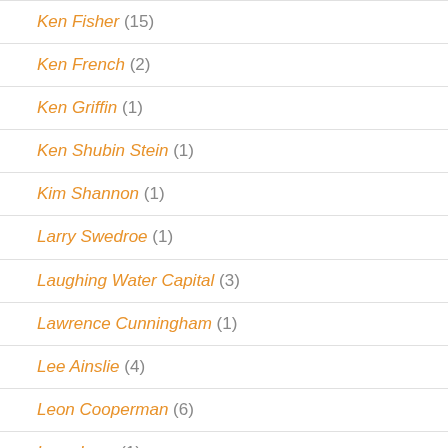Ken Fisher (15)
Ken French (2)
Ken Griffin (1)
Ken Shubin Stein (1)
Kim Shannon (1)
Larry Swedroe (1)
Laughing Water Capital (3)
Lawrence Cunningham (1)
Lee Ainslie (4)
Leon Cooperman (6)
Leon Levy (1)